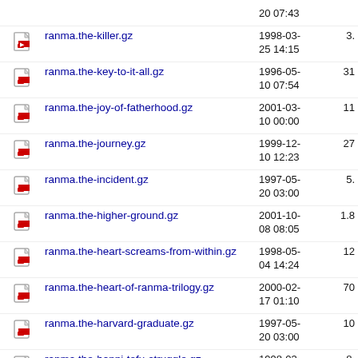20 07:43
ranma.the-killer.gz  1998-03-25 14:15  3.
ranma.the-key-to-it-all.gz  1996-05-10 07:54  31
ranma.the-joy-of-fatherhood.gz  2001-03-10 00:00  11
ranma.the-journey.gz  1999-12-10 12:23  27
ranma.the-incident.gz  1997-05-20 03:00  5.
ranma.the-higher-ground.gz  2001-10-08 08:05  1.8
ranma.the-heart-screams-from-within.gz  1998-05-04 14:24  12
ranma.the-heart-of-ranma-trilogy.gz  2000-02-17 01:10  70
ranma.the-harvard-graduate.gz  1997-05-20 03:00  10
ranma.the-happi-tofu-struggle.gz  1998-03-25 14:15  8.
ranma.the-greatest-hope-the-longest-divide.gz  1997-07-31 23:00  7.
ranma.the-great-ramen-run-  1996-11-